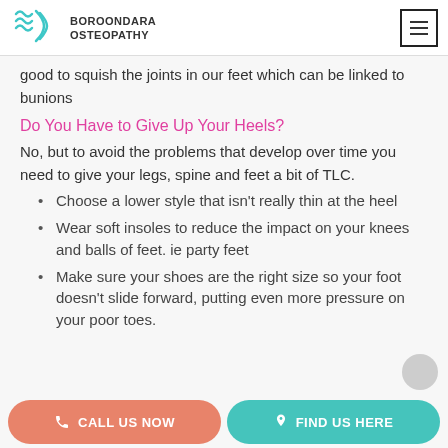Boroondara Osteopathy
good to squish the joints in our feet which can be linked to bunions
Do You Have to Give Up Your Heels?
No, but to avoid the problems that develop over time you need to give your legs, spine and feet a bit of TLC.
Choose a lower style that isn't really thin at the heel
Wear soft insoles to reduce the impact on your knees and balls of feet. ie party feet
Make sure your shoes are the right size so your foot doesn't slide forward, putting even more pressure on your poor toes.
CALL US NOW   FIND US HERE